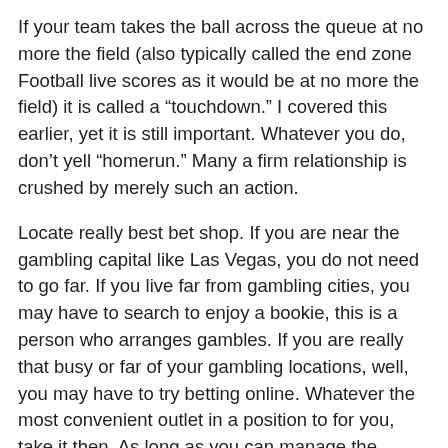If your team takes the ball across the queue at no more the field (also typically called the end zone Football live scores as it would be at no more the field) it is called a “touchdown.” I covered this earlier, yet it is still important. Whatever you do, don’t yell “homerun.” Many a firm relationship is crushed by merely such an action.
Locate really best bet shop. If you are near the gambling capital like Las Vegas, you do not need to go far. If you live far from gambling cities, you may have to search to enjoy a bookie, this is a person who arranges gambles. If you are really that busy or far of your gambling locations, well, you may have to try betting online. Whatever the most convenient outlet in a position to for you, take it then. As long as you can manage the opening you have chosen, you’ll stand a high probability with your bet.
There are several ways to evaluate a tennis match. They allow